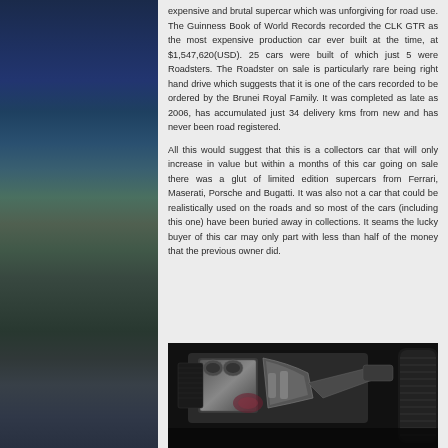expensive and brutal supercar which was unforgiving for road use. The Guinness Book of World Records recorded the CLK GTR as the most expensive production car ever built at the time, at $1,547,620(USD). 25 cars were built of which just 5 were Roadsters. The Roadster on sale is particularly rare being right hand drive which suggests that it is one of the cars recorded to be ordered by the Brunei Royal Family. It was completed as late as 2006, has accumulated just 34 delivery kms from new and has never been road registered.

All this would suggest that this is a collectors car that will only increase in value but within a months of this car going on sale there was a glut of limited edition supercars from Ferrari, Maserati, Porsche and Bugatti. It was also not a car that could be realistically used on the roads and so most of the cars (including this one) have been buried away in collections. It seams the lucky buyer of this car may only part with less than half of the money that the previous owner did.
[Figure (photo): Close-up photograph of a supercar engine bay showing metallic engine components, carbon fiber elements, suspension parts, and a tire visible on the right side. Dark background.]